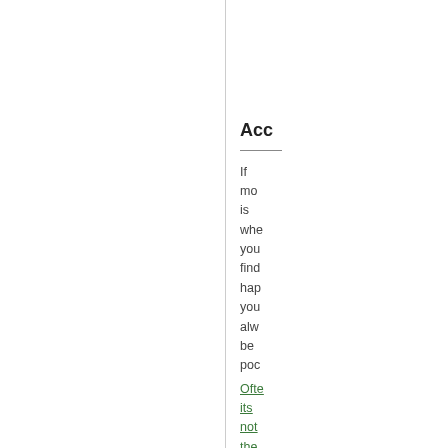Acc
If mo is whe you find hap you alw be poc
Ofte its not the driv but the pas tha find the righ